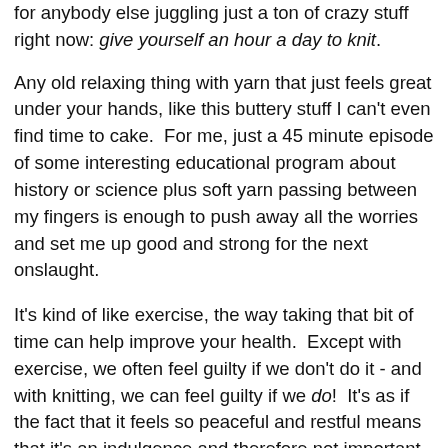for anybody else juggling just a ton of crazy stuff right now: give yourself an hour a day to knit.
Any old relaxing thing with yarn that just feels great under your hands, like this buttery stuff I can't even find time to cake.  For me, just a 45 minute episode of some interesting educational program about history or science plus soft yarn passing between my fingers is enough to push away all the worries and set me up good and strong for the next onslaught.
It's kind of like exercise, the way taking that bit of time can help improve your health.  Except with exercise, we often feel guilty if we don't do it - and with knitting, we can feel guilty if we do!  It's as if the fact that it feels so peaceful and restful means that it's an indulgence and therefore not important enough to fit into the schedule.
Well, boots to that.  Relaxing is just as valuable as lifting weights (though strength training is very very important for bone health, of course), and its value increases the busier you are.